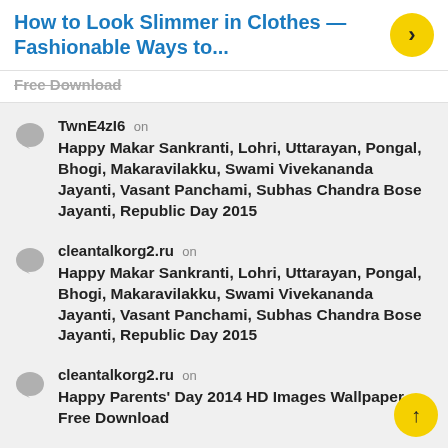How to Look Slimmer in Clothes — Fashionable Ways to...
Free Download
TwnE4zI6 on
Happy Makar Sankranti, Lohri, Uttarayan, Pongal, Bhogi, Makaravilakku, Swami Vivekananda Jayanti, Vasant Panchami, Subhas Chandra Bose Jayanti, Republic Day 2015
cleantalkorg2.ru on
Happy Makar Sankranti, Lohri, Uttarayan, Pongal, Bhogi, Makaravilakku, Swami Vivekananda Jayanti, Vasant Panchami, Subhas Chandra Bose Jayanti, Republic Day 2015
cleantalkorg2.ru on
Happy Parents' Day 2014 HD Images Wallpaper Free Download